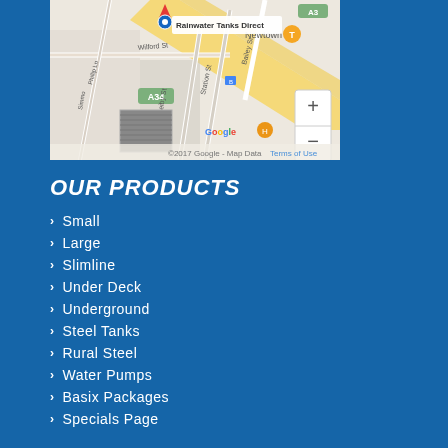[Figure (map): Google Maps screenshot showing location of Rainwater Tanks Direct near Newtown, with streets including Wilford St, Bailey St, Station St, Reiby St, Phillip Ln, and road A34. Shows zoom controls and Google branding. Copyright 2017 Google - Map Data. Terms of Use.]
OUR PRODUCTS
Small
Large
Slimline
Under Deck
Underground
Steel Tanks
Rural Steel
Water Pumps
Basix Packages
Specials Page